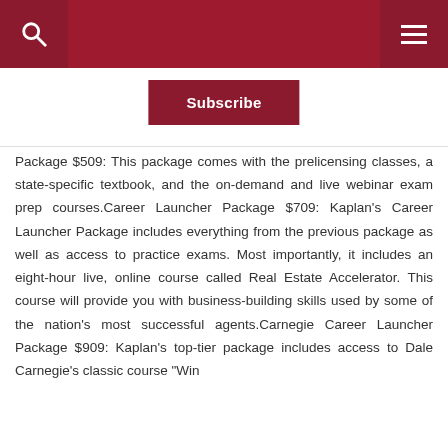Subscribe
Package $509: This package comes with the prelicensing classes, a state-specific textbook, and the on-demand and live webinar exam prep courses.Career Launcher Package $709: Kaplan's Career Launcher Package includes everything from the previous package as well as access to practice exams. Most importantly, it includes an eight-hour live, online course called Real Estate Accelerator. This course will provide you with business-building skills used by some of the nation's most successful agents.Carnegie Career Launcher Package $909: Kaplan's top-tier package includes access to Dale Carnegie's classic course "Win